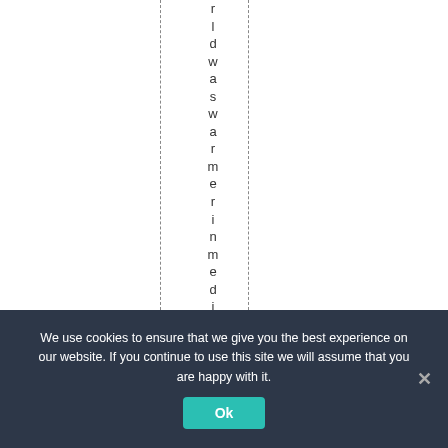r l d w a s w a r m e r i n m e d i
We use cookies to ensure that we give you the best experience on our website. If you continue to use this site we will assume that you are happy with it.